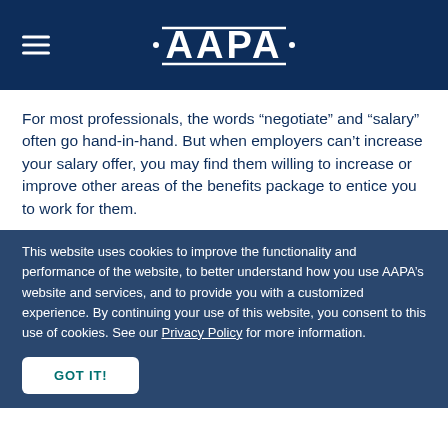[Figure (logo): AAPA logo in white on dark navy background, with hamburger menu icon on the left]
For most professionals, the words “negotiate” and “salary” often go hand-in-hand. But when employers can’t increase your salary offer, you may find them willing to increase or improve other areas of the benefits package to entice you to work for them.
This website uses cookies to improve the functionality and performance of the website, to better understand how you use AAPA’s website and services, and to provide you with a customized experience. By continuing your use of this website, you consent to this use of cookies. See our Privacy Policy for more information.
GOT IT!